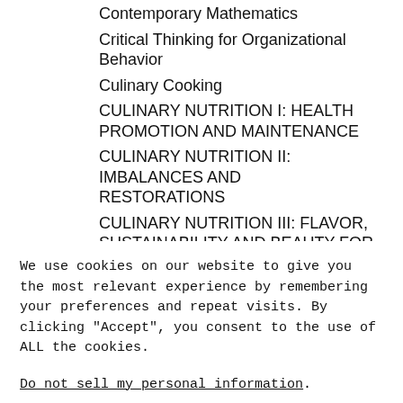Contemporary Mathematics
Critical Thinking for Organizational Behavior
Culinary Cooking
CULINARY NUTRITION I: HEALTH PROMOTION AND MAINTENANCE
CULINARY NUTRITION II: IMBALANCES AND RESTORATIONS
CULINARY NUTRITION III: FLAVOR, SUSTAINABILITY AND BEAUTY FOR
We use cookies on our website to give you the most relevant experience by remembering your preferences and repeat visits. By clicking "Accept", you consent to the use of ALL the cookies.
Do not sell my personal information.